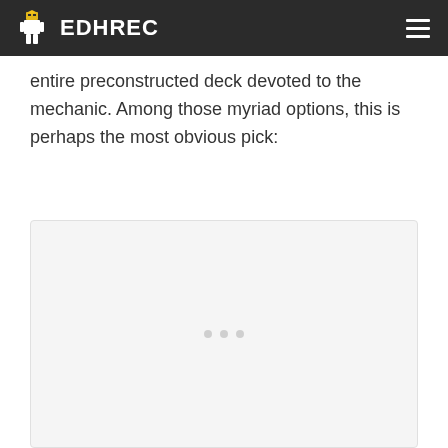EDHREC
entire preconstructed deck devoted to the mechanic. Among those myriad options, this is perhaps the most obvious pick:
[Figure (illustration): A Magic: The Gathering card image placeholder area with light gray background, partially visible card content]